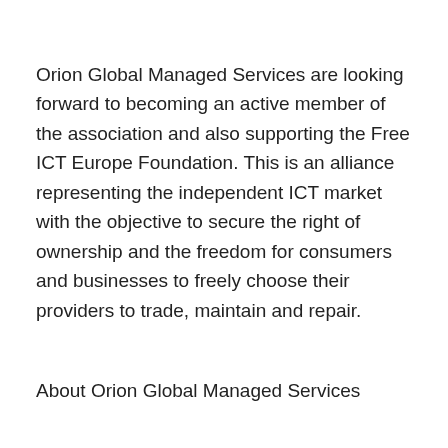Orion Global Managed Services are looking forward to becoming an active member of the association and also supporting the Free ICT Europe Foundation. This is an alliance representing the independent ICT market with the objective to secure the right of ownership and the freedom for consumers and businesses to freely choose their providers to trade, maintain and repair.
About Orion Global Managed Services